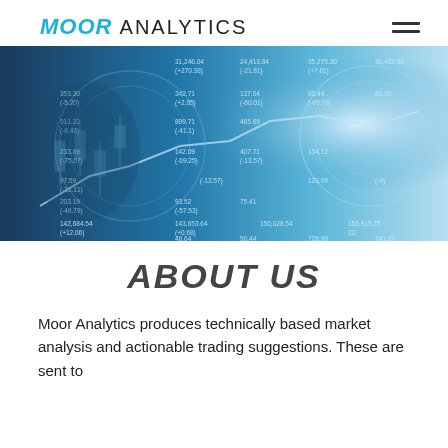MOOR ANALYTICS
[Figure (photo): Financial data background image showing stock market numbers, charts, candlesticks, a coin with a face embossed, overlaid with blue tint. Numbers visible include 31,246.04, 24,413.84, 35,275.30, 30,453.58, 342.71, 137.04, 60.44, 899.71, 465.69, 233.69, 142.09, 93.52, 75.41, 143,653.64, 150,028.54, 156,915.25, 48.64, 728.98.]
ABOUT US
Moor Analytics produces technically based market analysis and actionable trading suggestions. These are sent to